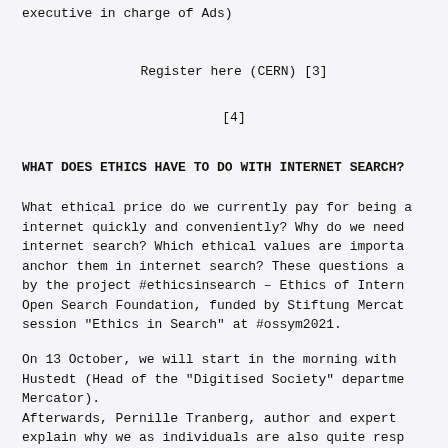executive in charge of Ads)
Register here (CERN) [3]
[4]
WHAT DOES ETHICS HAVE TO DO WITH INTERNET SEARCH?
What ethical price do we currently pay for being able to search the internet quickly and conveniently? Why do we need ethical values in internet search? Which ethical values are important and how can we anchor them in internet search? These questions are being addressed by the project #ethicsinsearch – Ethics of Internet Search at the Open Search Foundation, funded by Stiftung Mercator as part of the session "Ethics in Search" at #ossym2021.
On 13 October, we will start in the morning with a talk by Tobias Hustedt (Head of the "Digitised Society" department at Stiftung Mercator).
Afterwards, Pernille Tranberg, author and expert on data ethics, will explain why we as individuals are also quite responsible for the data...